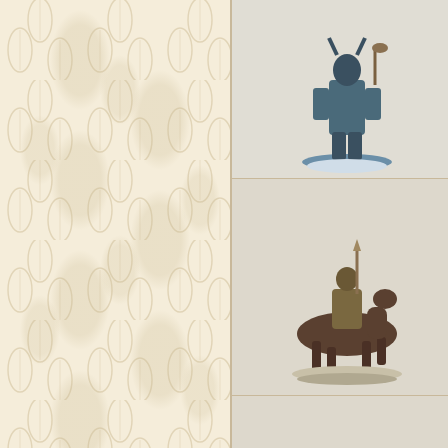[Figure (photo): Figurine - Male Knight with Axe, DSM7202, painted miniature on white base]
Male Knight with Axe
DSM7202
[Figure (photo): Figurine - Shadamehr Mounted, DSM1220, mounted warrior on horseback miniature]
Shadamehr Mounted
DSM1220
[Figure (photo): Figurine - Ser Sandor Clegane 'The Hound', DSM5002, armored figure in red]
Ser Sandor Clegane '
DSM5002
[Figure (photo): Figurine - Ser Jaime Lannister, DSM5004, golden armored figure with red cape]
Ser Jaime Lannister
DSM5004
[Figure (photo): Figurine - Ser Loras Tyrell 'Knight of Flowers', DSM5006, figure in ornate armor with sword]
Ser Loras Tyrell "Kni
DSM5006